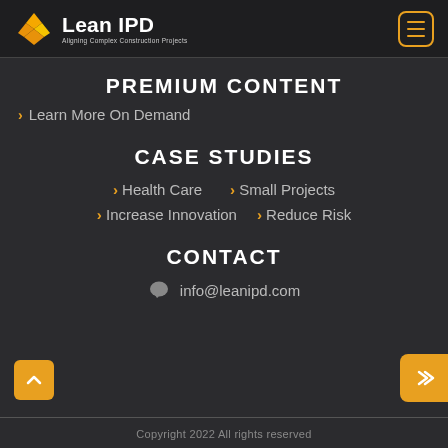Lean IPD — Aligning Complex Construction Projects
PREMIUM CONTENT
> Learn More On Demand
CASE STUDIES
> Health Care   > Small Projects
> Increase Innovation   > Reduce Risk
CONTACT
info@leanipd.com
Copyright 2022 All rights reserved